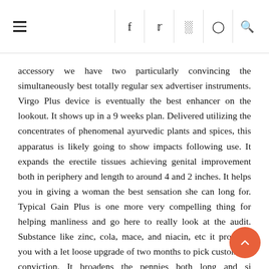≡  f  y  [instagram]  [pinterest]  [search]
accessory we have two particularly convincing the simultaneously best totally regular sex advertiser instruments. Virgo Plus device is eventually the best enhancer on the lookout. It shows up in a 9 weeks plan. Delivered utilizing the concentrates of phenomenal ayurvedic plants and spices, this apparatus is likely going to show impacts following use. It expands the erectile tissues achieving genital improvement both in periphery and length to around 4 and 2 inches. It helps you in giving a woman the best sensation she can long for. Typical Gain Plus is one more very compelling thing for helping manliness and go here to really look at the audit. Substance like zinc, cola, mace, and niacin, etc it provides you with a let loose upgrade of two months to pick customers' conviction. It broadens the pennies both long and si amazingly overflowing power and sureness back in you.